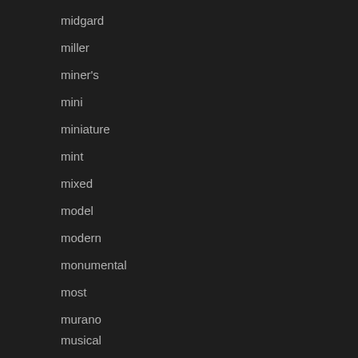midgard
miller
miner's
mini
miniature
mint
mixed
model
modern
monumental
most
murano
musical
mystery
navajo